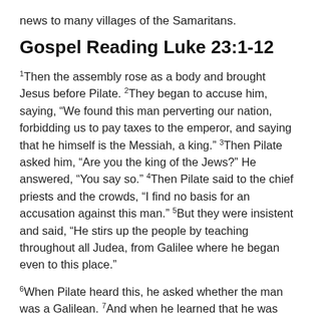news to many villages of the Samaritans.
Gospel Reading Luke 23:1-12
1Then the assembly rose as a body and brought Jesus before Pilate. 2They began to accuse him, saying, “We found this man perverting our nation, forbidding us to pay taxes to the emperor, and saying that he himself is the Messiah, a king.” 3Then Pilate asked him, “Are you the king of the Jews?” He answered, “You say so.” 4Then Pilate said to the chief priests and the crowds, “I find no basis for an accusation against this man.” 5But they were insistent and said, “He stirs up the people by teaching throughout all Judea, from Galilee where he began even to this place.”
6When Pilate heard this, he asked whether the man was a Galilean. 7And when he learned that he was under Herod’s jurisdiction, he sent him off to Herod, who was himself in Jerusalem at that time. 8When Herod saw Jesus...